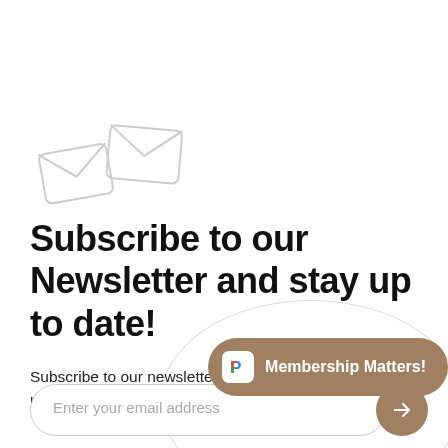[Figure (illustration): Two envelope icons (light grey outlines) suggesting email/newsletter, one smaller tilted left and one larger tilted right]
Subscribe to our Newsletter and stay up to date!
Subscribe to our newsletter for the latest news and work updates straight to your inbox
[Figure (screenshot): A notification pill/toast overlay with a tan/brown background showing a colorful 'P' app icon and text 'Membership Matters!']
Enter your email address